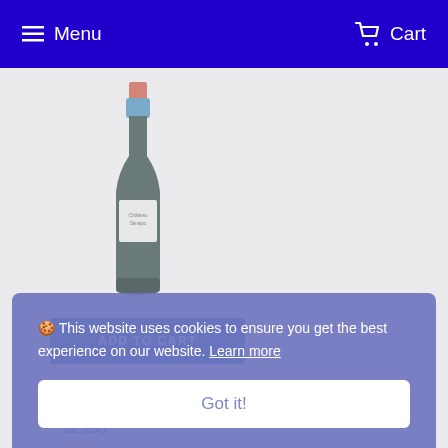Menu   Cart
[Figure (illustration): A dark wine bottle with a pink/salmon foil top, blue capsule neck, white label, and dark glass body standing upright on a light gray background.]
ADD TO CART
2014 Senejac 75CL
Haut-Medoc
£2,295
🍪 This website uses cookies to ensure you get the best experience on our website. Learn more
Got it!